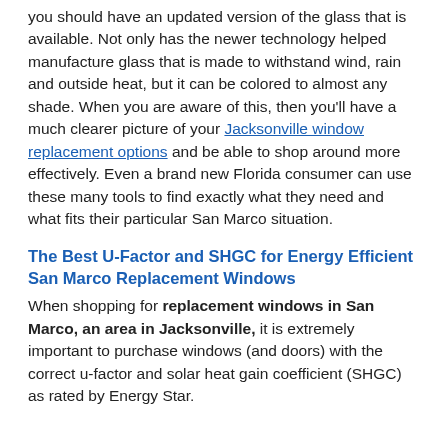you should have an updated version of the glass that is available. Not only has the newer technology helped manufacture glass that is made to withstand wind, rain and outside heat, but it can be colored to almost any shade. When you are aware of this, then you'll have a much clearer picture of your Jacksonville window replacement options and be able to shop around more effectively. Even a brand new Florida consumer can use these many tools to find exactly what they need and what fits their particular San Marco situation.
The Best U-Factor and SHGC for Energy Efficient San Marco Replacement Windows
When shopping for replacement windows in San Marco, an area in Jacksonville, it is extremely important to purchase windows (and doors) with the correct u-factor and solar heat gain coefficient (SHGC) as rated by Energy Star.